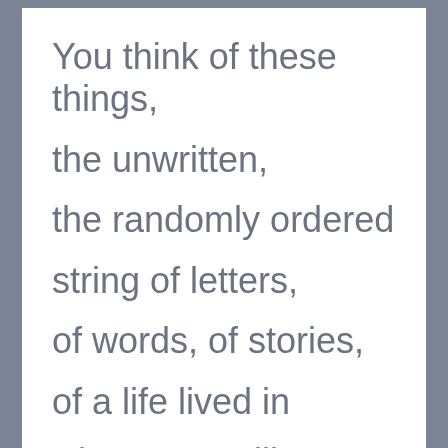You think of these things,
the unwritten,
the randomly ordered
string of letters,
of words, of stories,
of a life lived in
what seems like a
hyphen